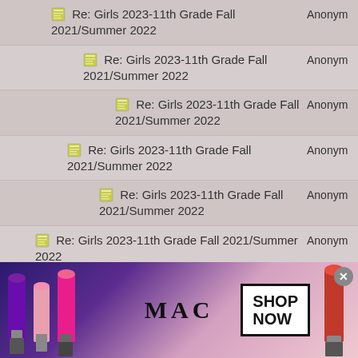Re: Girls 2023-11th Grade Fall 2021/Summer 2022
Re: Girls 2023-11th Grade Fall 2021/Summer 2022
Re: Girls 2023-11th Grade Fall 2021/Summer 2022
Re: Girls 2023-11th Grade Fall 2021/Summer 2022
Re: Girls 2023-11th Grade Fall 2021/Summer 2022
Re: Girls 2023-11th Grade Fall 2021/Summer 2022
Re: Girls 2023-11th Grade Fall 2021/Summer 2022
Re: Girls 2023-11th Grade Fall 2021/Summer 2022
[Figure (infographic): MAC cosmetics advertisement banner showing lipsticks with SHOP NOW button]